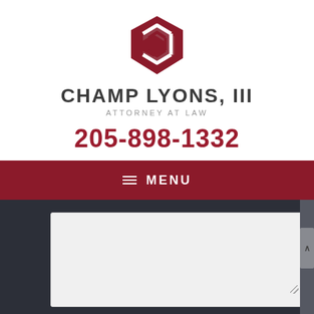[Figure (logo): Champ Lyons III Attorney at Law logo — geometric diamond/chevron shape in dark red with white cutout]
CHAMP LYONS, III
ATTORNEY AT LAW
205-898-1332
≡ MENU
[Figure (screenshot): Textarea form input field on dark background with scrollbar]
I Have Read The Disclaimer *